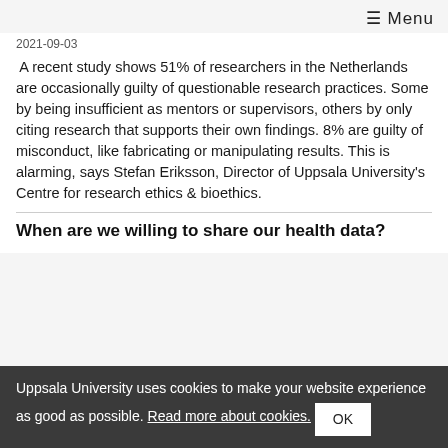≡ Menu
2021-09-03
A recent study shows 51% of researchers in the Netherlands are occasionally guilty of questionable research practices. Some by being insufficient as mentors or supervisors, others by only citing research that supports their own findings. 8% are guilty of misconduct, like fabricating or manipulating results. This is alarming, says Stefan Eriksson, Director of Uppsala University's Centre for research ethics & bioethics.
When are we willing to share our health data?
Uppsala University uses cookies to make your website experience as good as possible. Read more about cookies. OK